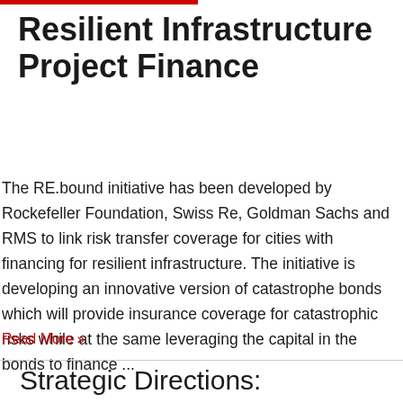Resilient Infrastructure Project Finance
The RE.bound initiative has been developed by Rockefeller Foundation, Swiss Re, Goldman Sachs and RMS to link risk transfer coverage for cities with financing for resilient infrastructure. The initiative is developing an innovative version of catastrophe bonds which will provide insurance coverage for catastrophic risks while at the same leveraging the capital in the bonds to finance ...
Read More »
Strategic Directions: